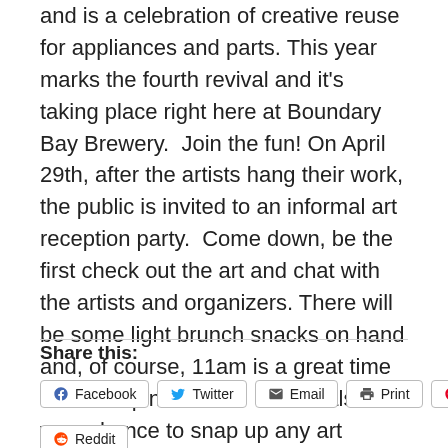and is a celebration of creative reuse for appliances and parts. This year marks the fourth revival and it's taking place right here at Boundary Bay Brewery.  Join the fun! On April 29th, after the artists hang their work, the public is invited to an informal art reception party.  Come down, be the first check out the art and chat with the artists and organizers. There will be some light brunch snacks on hand and, of course, 11am is a great time to start a pint o' beer.  This is also your chance to snap up any art pieces you love!
Share this:
Facebook  Twitter  Email  Print  Pinterest  Reddit